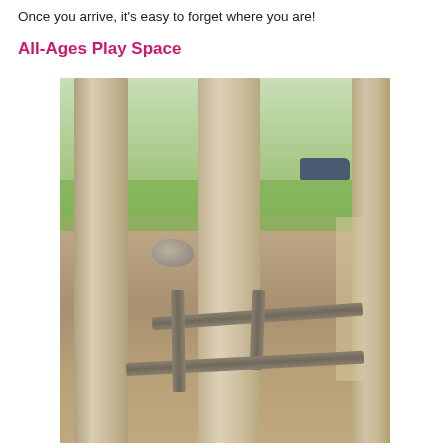Once you arrive, it's easy to forget where you are!
All-Ages Play Space
[Figure (photo): Outdoor all-ages play space in a park setting. Large tree trunks dominate the foreground, with wooden balance beams/log structures arranged on a mulch ground. Background shows green grass, trees, a pathway, and parked cars visible through the trees.]